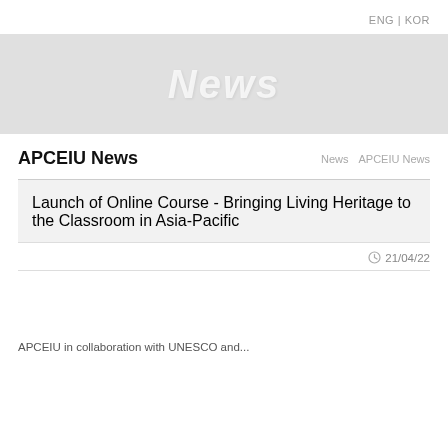ENG | KOR
[Figure (other): Gray banner area with large italic white text 'News']
APCEIU News
News   APCEIU News
Launch of Online Course - Bringing Living Heritage to the Classroom in Asia-Pacific
21/04/22
APCEIU in collaboration with UNESCO and...